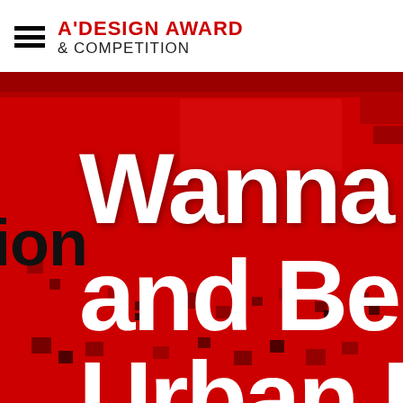[Figure (logo): A'Design Award & Competition logo with hamburger menu icon on the left, red bold text 'A'DESIGN AWARD' and grey '& COMPETITION' on the right]
[Figure (screenshot): A'Design Award website hero banner with red pixelated background and large white bold text reading 'Wanna G...', 'and Be...', 'Urban I...' with partial text visible, and the word 'ion' on the left side]